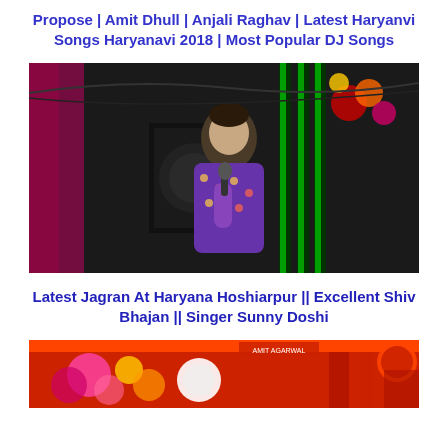Propose | Amit Dhull | Anjali Raghav | Latest Haryanvi Songs Haryanavi 2018 | Most Popular DJ Songs
[Figure (photo): A male singer performing on stage at night, holding a microphone, wearing a floral/printed kurta, with colorful lights and decorations in the background including green LED lights and festive decor.]
Latest Jagran At Haryana Hoshiarpur || Excellent Shiv Bhajan || Singer Sunny Doshi
[Figure (photo): A colorful outdoor event or stage setup with bright red and other color decorations, partially visible at the bottom of the page. Small logo/watermark visible in top right corner.]